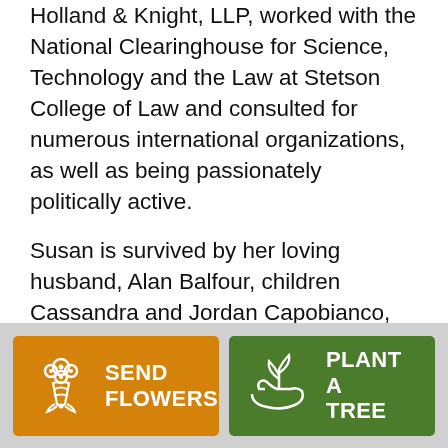Holland & Knight, LLP, worked with the National Clearinghouse for Science, Technology and the Law at Stetson College of Law and consulted for numerous international organizations, as well as being passionately politically active.
Susan is survived by her loving husband, Alan Balfour, children Cassandra and Jordan Capobianco, son-in-law Alan Dandorf, and grandchildren Gus and Sam Dandorf. She leaves her step-mother Jo Ann Zucker, sister Nancy Breen, many cousins, and dear friends.
[Figure (illustration): Orange button with flower bouquet icon and text SEND FLOWERS]
[Figure (illustration): Green button with plant/hand icon and text PLANT A TREE]